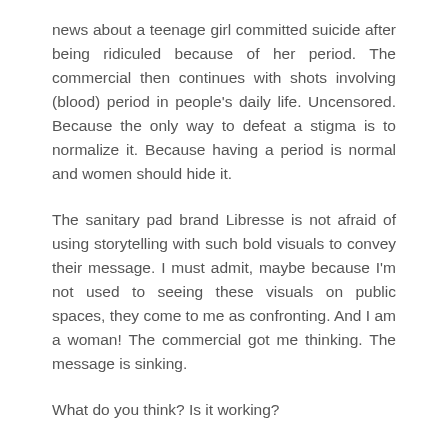news about a teenage girl committed suicide after being ridiculed because of her period. The commercial then continues with shots involving (blood) period in people's daily life. Uncensored. Because the only way to defeat a stigma is to normalize it. Because having a period is normal and women should hide it.
The sanitary pad brand Libresse is not afraid of using storytelling with such bold visuals to convey their message. I must admit, maybe because I'm not used to seeing these visuals on public spaces, they come to me as confronting. And I am a woman! The commercial got me thinking. The message is sinking.
What do you think? Is it working?